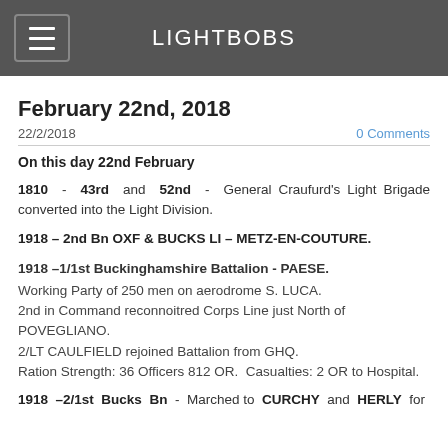LIGHTBOBS
February 22nd, 2018
22/2/2018   0 Comments
On this day 22nd February
1810 - 43rd and 52nd - General Craufurd's Light Brigade converted into the Light Division.
1918 – 2nd Bn OXF & BUCKS LI – METZ-EN-COUTURE.
1918 –1/1st Buckinghamshire Battalion - PAESE.
Working Party of 250 men on aerodrome S. LUCA.
2nd in Command reconnoitred Corps Line just North of POVEGLIANO.
2/LT CAULFIELD rejoined Battalion from GHQ.
Ration Strength: 36 Officers 812 OR.  Casualties: 2 OR to Hospital.
1918 –2/1st Bucks Bn - Marched to CURCHY and HERLY for